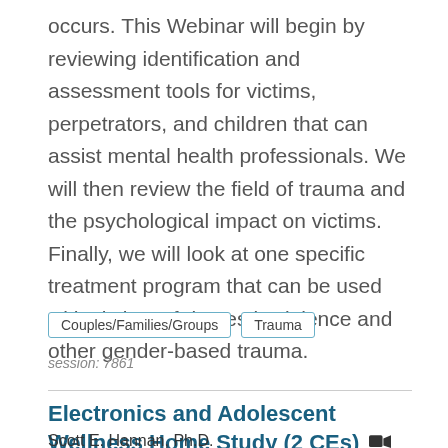occurs. This Webinar will begin by reviewing identification and assessment tools for victims, perpetrators, and children that can assist mental health professionals. We will then review the field of trauma and the psychological impact on victims. Finally, we will look at one specific treatment program that can be used with victims of domestic violence and other gender-based trauma.
Couples/Families/Groups
Trauma
session: 7861
Electronics and Adolescent Wellness Home Study (2 CEs)
Scott E. Hannan, Ph.D.